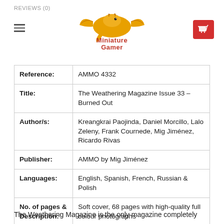REVIEWS (0)
[Figure (logo): Miniature Gamer logo with orange dragon and stylized text]
| Reference: | AMMO 4332 |
| Title: | The Weathering Magazine Issue 33 – Burned Out |
| Author/s: | Kreangkrai Paojinda, Daniel Morcillo, Lalo Zeleny, Frank Cournede, Mig Jiménez, Ricardo Rivas |
| Publisher: | AMMO by Mig Jiménez |
| Languages: | English, Spanish, French, Russian & Polish |
| No. of pages & Description: | Soft cover, 68 pages with high-quality full colour photographs |
| ISSN: | 2340-275X |
The Weathering Magazine is the only magazine completely